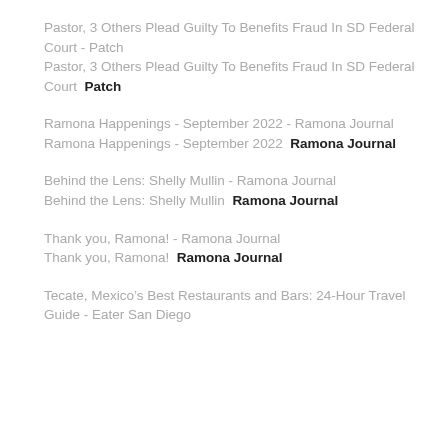Pastor, 3 Others Plead Guilty To Benefits Fraud In SD Federal Court - Patch
Pastor, 3 Others Plead Guilty To Benefits Fraud In SD Federal Court  Patch
Ramona Happenings - September 2022 - Ramona Journal
Ramona Happenings - September 2022  Ramona Journal
Behind the Lens: Shelly Mullin - Ramona Journal
Behind the Lens: Shelly Mullin  Ramona Journal
Thank you, Ramona! - Ramona Journal
Thank you, Ramona!  Ramona Journal
Tecate, Mexico's Best Restaurants and Bars: 24-Hour Travel Guide - Eater San Diego